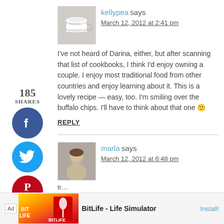[Figure (photo): Avatar photo of kellypea - white teacup on saucer]
kellypea says
March 12, 2012 at 2:41 pm
I've not heard of Darina, either, but after scanning that list of cookbooks, I think I'd enjoy owning a couple. I enjoy most traditional food from other countries and enjoy learning about it. This is a lovely recipe — easy, too. I'm smiling over the buffalo chips. I'll have to think about that one 🙂
REPLY
[Figure (photo): Avatar photo of marla]
marla says
March 12, 2012 at 6:48 pm
Ad — BitLife - Life Simulator — Install!